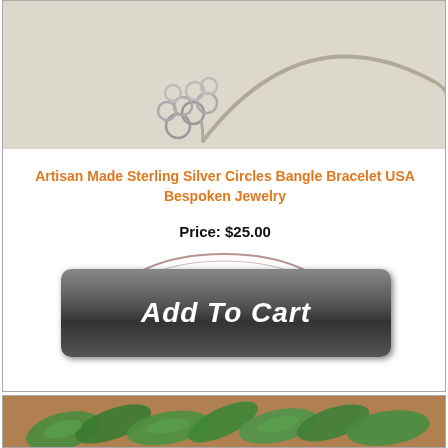[Figure (photo): Close-up photo of a sterling silver circles bangle bracelet on a light beige background. The bracelet is a thin silver wire hoop with decorative circular wire loops clustered at one end.]
Artisan Made Sterling Silver Circles Bangle Bracelet USA Bespoken Jewelry
Price: $25.00
[Figure (other): Dark brownish-rose oval stamp/seal watermark behind the Add To Cart button]
[Figure (other): Dark gray glossy Add To Cart button with italic white bold text]
[Figure (photo): Photo of fresh green leafy vegetables (arugula or similar salad greens) laid out on brown paper]